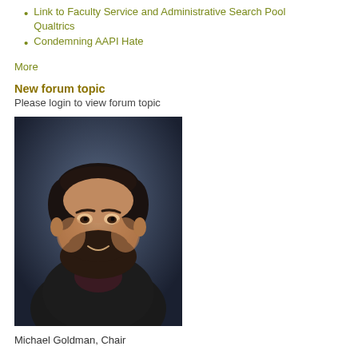Link to Faculty Service and Administrative Search Pool Qualtrics
Condemning AAPI Hate
More
New forum topic
Please login to view forum topic
[Figure (photo): Professional headshot of Michael Goldman, a bearded man smiling, wearing a dark blazer and dark shirt, photographed against a dark blue-grey background.]
Michael Goldman, Chair